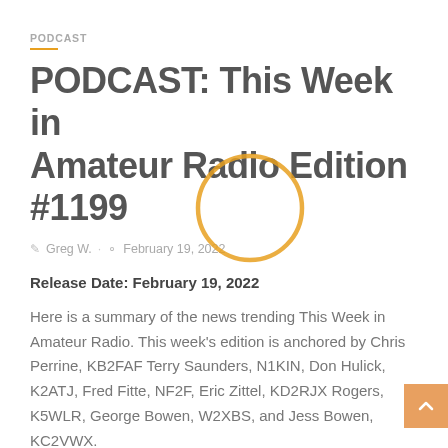PODCAST
PODCAST: This Week in Amateur Radio Edition #1199
Greg W. · February 19, 2022
Release Date: February 19, 2022
Here is a summary of the news trending This Week in Amateur Radio. This week's edition is anchored by Chris Perrine, KB2FAF Terry Saunders, N1KIN, Don Hulick, K2ATJ, Fred Fitte, NF2F, Eric Zittel, KD2RJX Rogers, K5WLR, George Bowen, W2XBS, and Jess Bowen, KC2VWX.